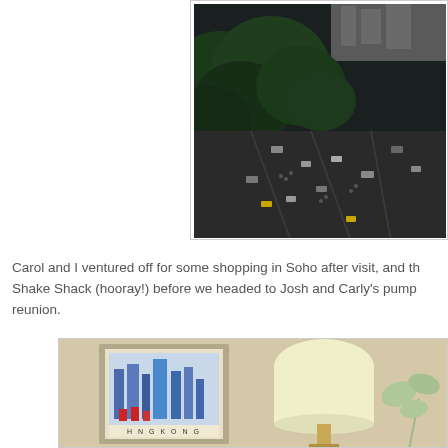[Figure (photo): Aerial view of a city park and surrounding streets with trees and traffic, taken from a high vantage point. The scene shows dense tree canopy in the upper left and busy intersecting streets with vehicles and pedestrians below.]
Carol and I ventured off for some shopping in Soho after visit, and th Shake Shack (hooray!) before we headed to Josh and Carly's pump reunion.
[Figure (photo): Interior room photo showing a framed Hong Kong travel poster on the wall, a lamp with a cream lampshade, and a decorative plant illustration on the right side of the frame.]